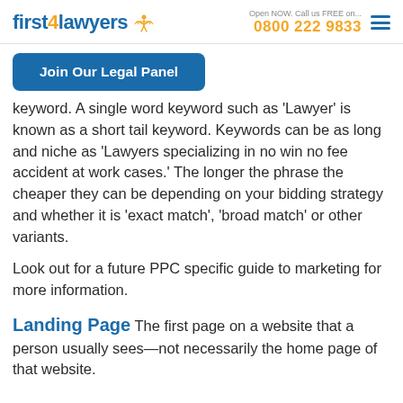first4lawyers | Open NOW. Call us FREE on... 0800 222 9833
Join Our Legal Panel
keyword. A single word keyword such as 'Lawyer' is known as a short tail keyword. Keywords can be as long and niche as 'Lawyers specializing in no win no fee accident at work cases.' The longer the phrase the cheaper they can be depending on your bidding strategy and whether it is 'exact match', 'broad match' or other variants.
Look out for a future PPC specific guide to marketing for more information.
Landing Page The first page on a website that a person usually sees—not necessarily the home page of that website.